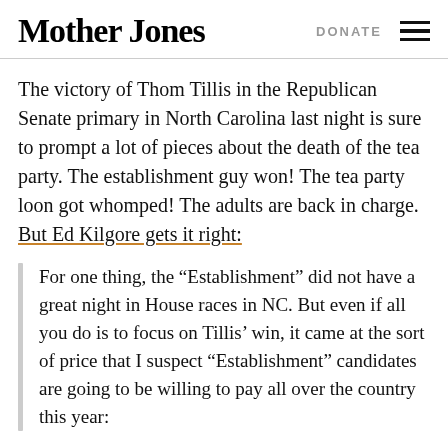Mother Jones | DONATE
The victory of Thom Tillis in the Republican Senate primary in North Carolina last night is sure to prompt a lot of pieces about the death of the tea party. The establishment guy won! The tea party loon got whomped! The adults are back in charge. But Ed Kilgore gets it right:
For one thing, the “Establishment” did not have a great night in House races in NC. But even if all you do is to focus on Tillis’ win, it came at the sort of price that I suspect “Establishment” candidates are going to be willing to pay all over the country this year: